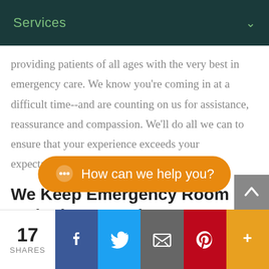Services
providing patients of all ages with the very best in emergency care. We know you're coming in at a difficult time--and are counting on us for assistance, reassurance and compassion. We'll do all we can to ensure that your experience exceeds your expectations.
We Keep Emergency Room Wait Times as Short as Possible.
Please u... ergency
[Figure (screenshot): Orange chat bubble overlay with speech bubble icon and text 'How can we help you?']
17 SHARES | Facebook | Twitter | Email | Pinterest | More